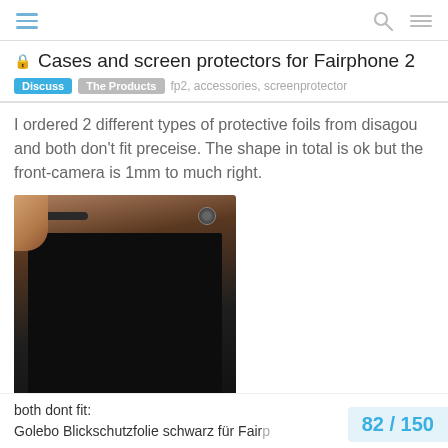navigation header with hamburger, search, and menu icons
Cases and screen protectors for Fairphone 2
Discuss | The Products   fp2, accessories, screenprotector
I ordered 2 different types of protective foils from disagou and both don't fit preceise. The shape in total is ok but the front-camera is 1mm to much right.
[Figure (photo): Photo of the top portion of a Fairphone 2 smartphone showing the front camera area, with an IRPHONE watermark bar at the bottom of the image]
both dont fit:
Golebo Blickschutzfolie schwarz für Fairp
82 / 150